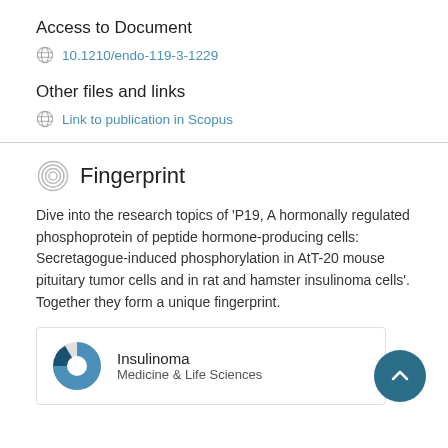Access to Document
10.1210/endo-119-3-1229
Other files and links
Link to publication in Scopus
Fingerprint
Dive into the research topics of 'P19, A hormonally regulated phosphoprotein of peptide hormone-producing cells: Secretagogue-induced phosphorylation in AtT-20 mouse pituitary tumor cells and in rat and hamster insulinoma cells'. Together they form a unique fingerprint.
Insulinoma
Medicine & Life Sciences